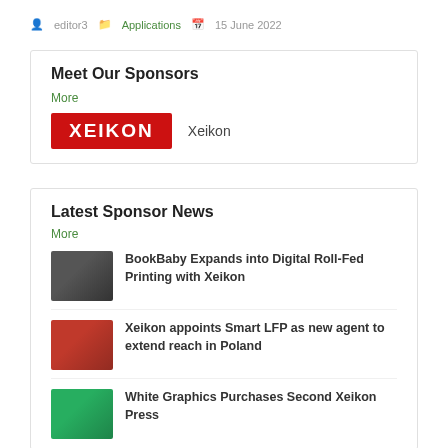editor3 · Applications · 15 June 2022
Meet Our Sponsors
More
[Figure (logo): Xeikon red logo with white text]
Xeikon
Latest Sponsor News
More
[Figure (photo): Group of people in dark setting]
BookBaby Expands into Digital Roll-Fed Printing with Xeikon
[Figure (photo): Red background with people]
Xeikon appoints Smart LFP as new agent to extend reach in Poland
[Figure (photo): Outdoor green scene]
White Graphics Purchases Second Xeikon Press